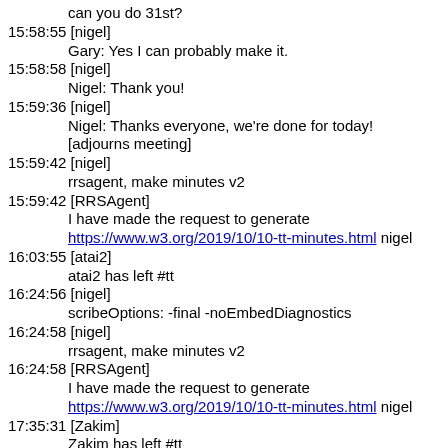can you do 31st?
15:58:55 [nigel]
    Gary: Yes I can probably make it.
15:58:58 [nigel]
    Nigel: Thank you!
15:59:36 [nigel]
    Nigel: Thanks everyone, we're done for today!
    [adjourns meeting]
15:59:42 [nigel]
    rrsagent, make minutes v2
15:59:42 [RRSAgent]
    I have made the request to generate
    https://www.w3.org/2019/10/10-tt-minutes.html nigel
16:03:55 [atai2]
    atai2 has left #tt
16:24:56 [nigel]
    scribeOptions: -final -noEmbedDiagnostics
16:24:58 [nigel]
    rrsagent, make minutes v2
16:24:58 [RRSAgent]
    I have made the request to generate
    https://www.w3.org/2019/10/10-tt-minutes.html nigel
17:35:31 [Zakim]
    Zakim has left #tt